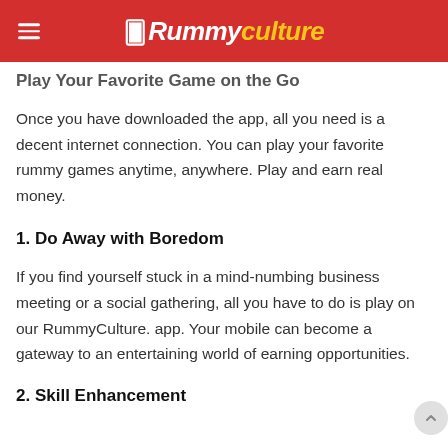Rummyculture
Play Your Favorite Game on the Go
Once you have downloaded the app, all you need is a decent internet connection. You can play your favorite rummy games anytime, anywhere. Play and earn real money.
1. Do Away with Boredom
If you find yourself stuck in a mind-numbing business meeting or a social gathering, all you have to do is play on our RummyCulture. app. Your mobile can become a gateway to an entertaining world of earning opportunities.
2. Skill Enhancement